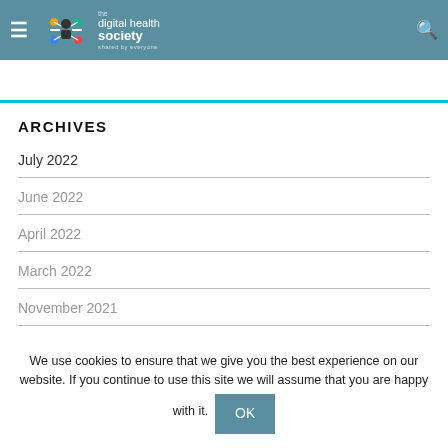the digital health society
ARCHIVES
July 2022
June 2022
April 2022
March 2022
November 2021
We use cookies to ensure that we give you the best experience on our website. If you continue to use this site we will assume that you are happy with it.